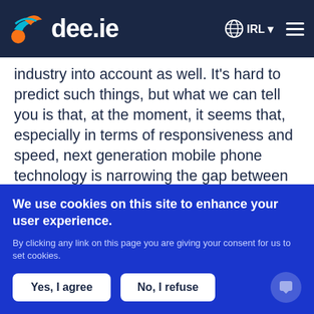dee.ie IRL
industry into account as well. It's hard to predict such things, but what we can tell you is that, at the moment, it seems that, especially in terms of responsiveness and speed, next generation mobile phone technology is narrowing the gap between web-based and native apps.
The edge that platforms such as iOS and Android currently have will probably fade over time as web
We use cookies on this site to enhance your user experience.
By clicking any link on this page you are giving your consent for us to set cookies.